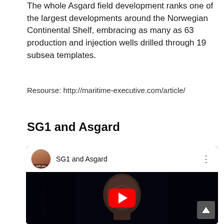The whole Asgard field development ranks one of the largest developments around the Norwegian Continental Shelf, embracing as many as 63 production and injection wells drilled through 19 subsea templates.
Resourse: http://maritime-executive.com/article/
SG1 and Asgard
[Figure (screenshot): YouTube video embed showing 'SG1 and Asgard' with a channel avatar, video title, three-dot menu, and a dark video thumbnail featuring an alien/masked figure with a red YouTube play button overlay.]